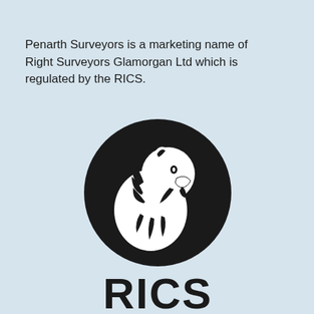Penarth Surveyors is a marketing name of Right Surveyors Glamorgan Ltd which is regulated by the RICS.
[Figure (logo): RICS logo: a black circle containing a white lion figure, with the text 'RICS' in bold black letters below]